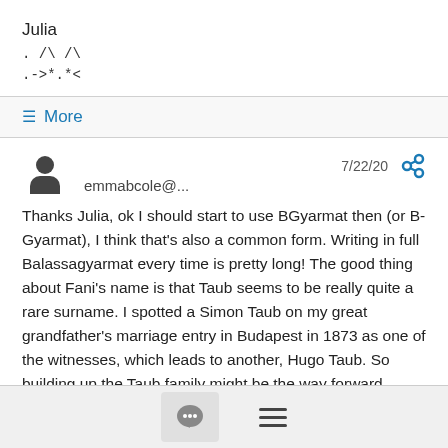Julia
. /\ /\
.->*.*<
≡ More
emmabcole@...
7/22/20
Thanks Julia, ok I should start to use BGyarmat then (or B-Gyarmat), I think that's also a common form. Writing in full Balassagyarmat every time is pretty long! The good thing about Fani's name is that Taub seems to be really quite a rare surname. I spotted a Simon Taub on my great grandfather's marriage entry in Budapest in 1873 as one of the witnesses, which leads to another, Hugo Taub. So building up the Taub family might be the way forward, There was also an intriguing Taub family I found on this site's databases at the 1848 census for Abaújszántó , 2 Taub